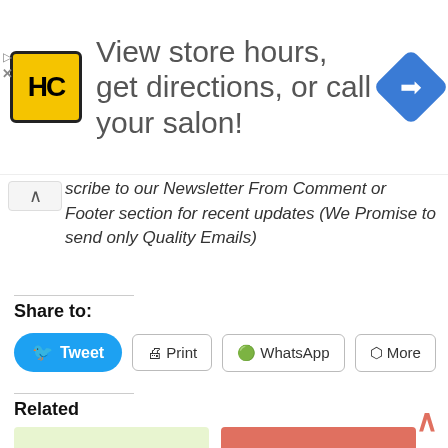[Figure (other): Advertisement banner: HC logo (yellow square), text 'View store hours, get directions, or call your salon!', blue diamond navigation icon]
scribe to our Newsletter From Comment or Footer section for recent updates (We Promise to send only Quality Emails)
Share to:
[Figure (other): Social share buttons: Tweet (blue), Print, WhatsApp, More]
Related
[Figure (other): Thumbnail: Bijaya Dashami Wishes in Nepali & English (light green background with Devanagari text)]
[Figure (other): Thumbnail: चैते दशैं को शुभकामना (salmon/red background with white Devanagari text)]